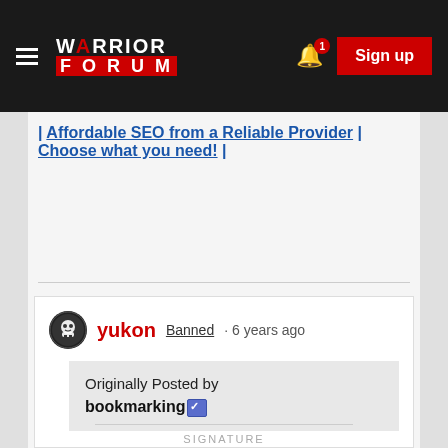Warrior Forum — Sign up
| Affordable SEO from a Reliable Provider | Choose what you need! |
yukon Banned · 6 years ago
Originally Posted by bookmarking
That would make you wrong.
Thank this user
SIGNATURE